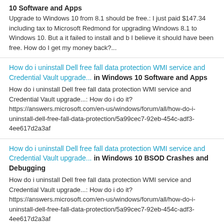10 Software and Apps
Upgrade to Windows 10 from 8.1 should be free.: I just paid $147.34 including tax to Microsoft Redmond for upgrading Windows 8.1 to Windows 10. But a it failed to install and b I believe it should have been free. How do I get my money back?...
How do i uninstall Dell free fall data protection WMI service and Credential Vault upgrade... in Windows 10 Software and Apps
How do i uninstall Dell free fall data protection WMI service and Credential Vault upgrade...: How do i do it? https://answers.microsoft.com/en-us/windows/forum/all/how-do-i-uninstall-dell-free-fall-data-protection/5a99cec7-92eb-454c-adf3-4ee617d2a3af
How do i uninstall Dell free fall data protection WMI service and Credential Vault upgrade... in Windows 10 BSOD Crashes and Debugging
How do i uninstall Dell free fall data protection WMI service and Credential Vault upgrade...: How do i do it? https://answers.microsoft.com/en-us/windows/forum/all/how-do-i-uninstall-dell-free-fall-data-protection/5a99cec7-92eb-454c-adf3-4ee617d2a3af
How do i uninstall Dell free fall data protection WMI service